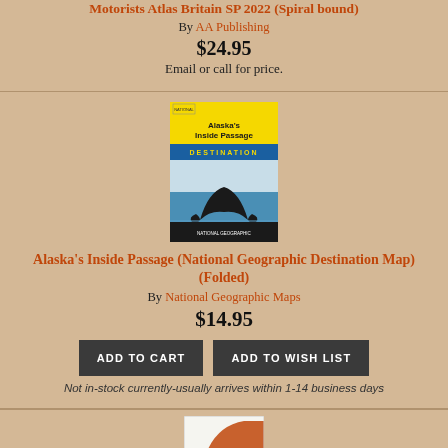Motorists Atlas Britain SP 2022 (Spiral bound)
By AA Publishing
$24.95
Email or call for price.
[Figure (illustration): Book cover for Alaska's Inside Passage National Geographic Destination Map (Folded) showing a whale tail with yellow and blue design]
Alaska's Inside Passage (National Geographic Destination Map) (Folded)
By National Geographic Maps
$14.95
ADD TO CART
ADD TO WISH LIST
Not in-stock currently-usually arrives within 1-14 business days